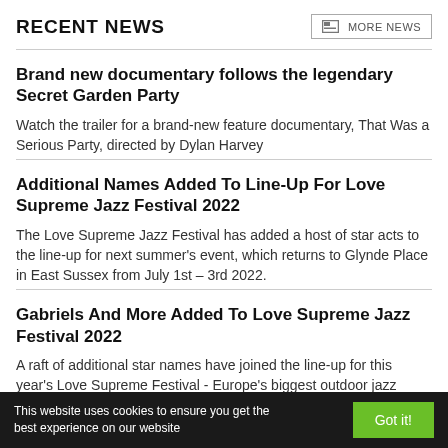RECENT NEWS
Brand new documentary follows the legendary Secret Garden Party
Watch the trailer for a brand-new feature documentary, That Was a Serious Party, directed by Dylan Harvey
Additional Names Added To Line-Up For Love Supreme Jazz Festival 2022
The Love Supreme Jazz Festival has added a host of star acts to the line-up for next summer's event, which returns to Glynde Place in East Sussex from July 1st – 3rd 2022.
Gabriels And More Added To Love Supreme Jazz Festival 2022
A raft of additional star names have joined the line-up for this year's Love Supreme Festival - Europe's biggest outdoor jazz festival, which returns from...
This website uses cookies to ensure you get the best experience on our website